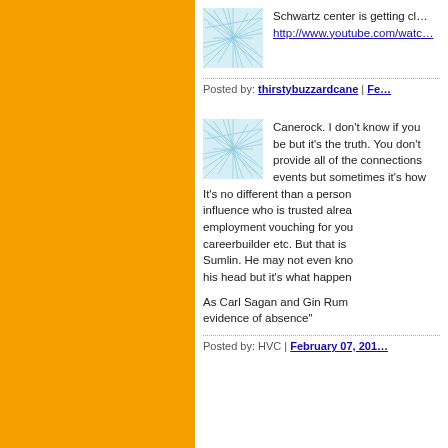[Figure (illustration): Abstract geometric pattern avatar with light blue lines on white background, first post]
Schwartz center is getting cl…
http://www.youtube.com/watc…
Posted by: thirstybuzzardcane | Fe…
[Figure (illustration): Abstract geometric pattern avatar with light blue lines on white background, second post]
Canerock. I don't know if you be but it's the truth. You don't provide all of the connections events but sometimes it's how
It's no different than a person influence who is trusted alrea employment vouching for you careerbuilder etc. But that is Sumlin. He may not even kno his head but it's what happen
As Carl Sagan and Gin Rum evidence of absence"
Posted by: HVC | February 07, 201…